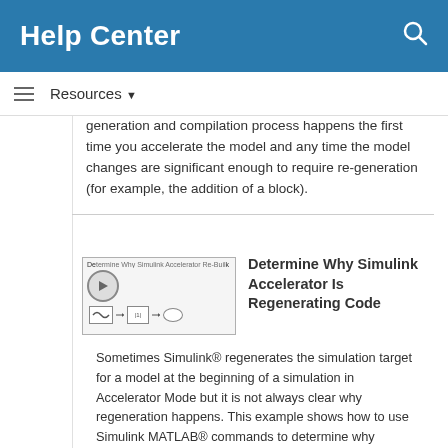Help Center
Resources
generation and compilation process happens the first time you accelerate the model and any time the model changes are significant enough to require re-generation (for example, the addition of a block).
[Figure (screenshot): Thumbnail screenshot of 'Determine Why Simulink Accelerator Re-Builds' showing a Simulink block diagram with sine wave, block, and output elements]
Determine Why Simulink Accelerator Is Regenerating Code
Sometimes Simulink® regenerates the simulation target for a model at the beginning of a simulation in Accelerator Mode but it is not always clear why regeneration happens. This example shows how to use Simulink MATLAB® commands to determine why Simulink regenerates